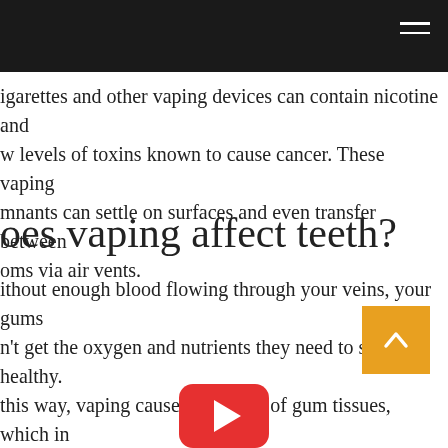igarettes and other vaping devices can contain nicotine and w levels of toxins known to cause cancer. These vaping mnants can settle on surfaces and even transfer between oms via air vents.
oes vaping affect teeth?
ithout enough blood flowing through your veins, your gums n't get the oxygen and nutrients they need to stay healthy. this way, vaping causes the death of gum tissues, which in rn causes gum recession. Severely receding gums lead to oth sensitivity, increased risk of cavities and, in some cases s of teeth.
[Figure (other): Orange back-to-top button with upward chevron arrow]
[Figure (logo): YouTube logo icon (red rounded rectangle with white play arrow)]